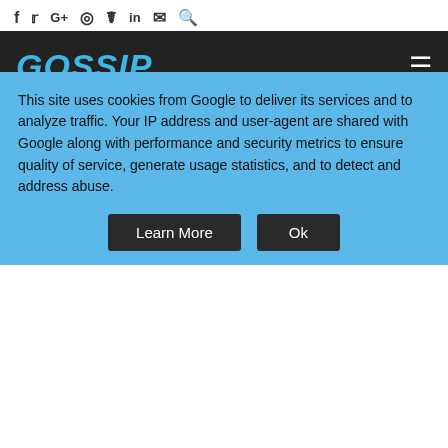f  t  G+  (instagram)  p  in  (mail)  (search)
GOSSIP
BREAKING NEWS: a Gates Speaks On Coronavirus say
- Advertisement -
[Figure (infographic): Solana Windscreens advertisement banner: Chipped, Cracked or Scratched Windscreen? Get A Quote. Check Out Solana Windscreens For Quality Vehicle Chip Repair and Replacement Near You.]
This site uses cookies from Google to deliver its services and to analyze traffic. Your IP address and user-agent are shared with Google along with performance and security metrics to ensure quality of service, generate usage statistics, and to detect and address abuse.
Learn More    Ok